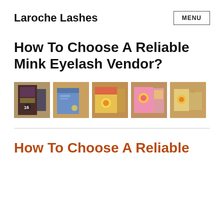Laroche Lashes | MENU
How To Choose A Reliable Mink Eyelash Vendor?
[Figure (photo): Five product photos of mink eyelash packaging arranged in a row on an orange/tan background. Products include holographic and colorful eyelash boxes.]
How To Choose A Reliable